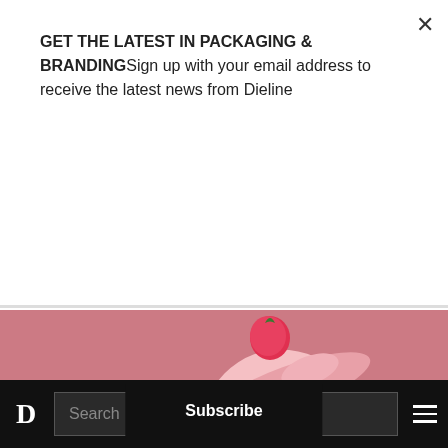GET THE LATEST IN PACKAGING & BRANDINGSign up with your email address to receive the latest news from Dieline
Subscribe
[Figure (photo): A pink strawberry ice cream cup with bold dark brown bubbly lettering reading 'strawberry ice cream 100ml' on a pink background, photographed at an angle with strawberry garnish visible on top.]
FOOD PACKAGING, STUDENT & CONCEPT PACKAGING
09/02/2022
Student Week: Strawberry Ice Cream Packaging
D  Search  ≡